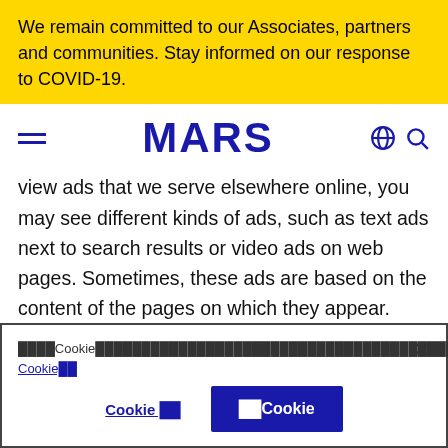We remain committed to our Associates, partners and communities. Stay informed on our response to COVID-19.
[Figure (logo): MARS company logo in bold blue capital letters, with hamburger menu icon on left and globe/search icons on right]
view ads that we serve elsewhere online, you may see different kinds of ads, such as text ads next to search results or video ads on web pages. Sometimes, these ads are based on the content of the pages on which they appear. Other times, these ads are generated by matching the particular ad to your interests as inferred
████Cookie████████████████████████████████████████cookie████████████  ████████Cookie██